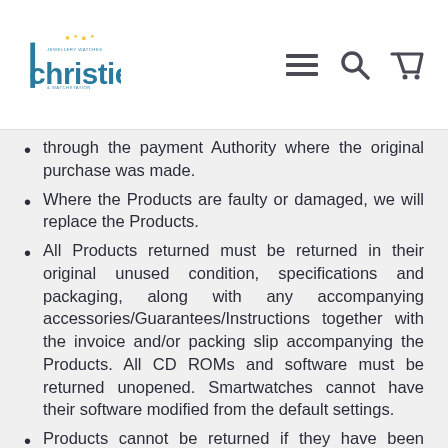Christies Jewellery Watches & Watchstation
through the payment Authority where the original purchase was made.
Where the Products are faulty or damaged, we will replace the Products.
All Products returned must be returned in their original unused condition, specifications and packaging, along with any accompanying accessories/Guarantees/Instructions together with the invoice and/or packing slip accompanying the Products. All CD ROMs and software must be returned unopened. Smartwatches cannot have their software modified from the default settings.
Products cannot be returned if they have been used, worn, engraved, modified, damaged, altered or sized. This includes rings sized at your request, at the time of purchase, as we will not resize a Ring...